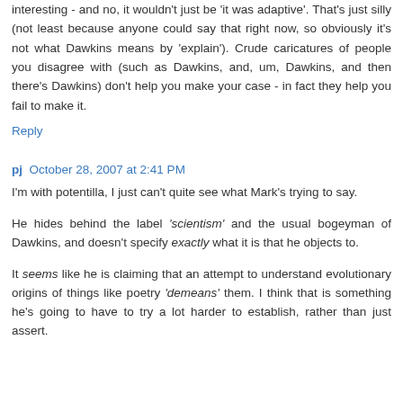interesting - and no, it wouldn't just be 'it was adaptive'. That's just silly (not least because anyone could say that right now, so obviously it's not what Dawkins means by 'explain'). Crude caricatures of people you disagree with (such as Dawkins, and, um, Dawkins, and then there's Dawkins) don't help you make your case - in fact they help you fail to make it.
Reply
pj  October 28, 2007 at 2:41 PM
I'm with potentilla, I just can't quite see what Mark's trying to say.
He hides behind the label 'scientism' and the usual bogeyman of Dawkins, and doesn't specify exactly what it is that he objects to.
It seems like he is claiming that an attempt to understand evolutionary origins of things like poetry 'demeans' them. I think that is something he's going to have to try a lot harder to establish, rather than just assert.